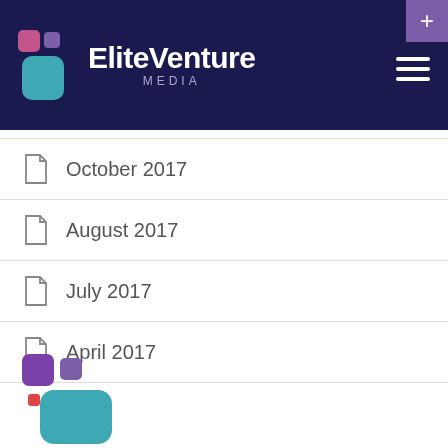EliteVenture MEDIA
October 2017
August 2017
July 2017
April 2017
[Figure (logo): EliteVenture Media partial logo icon at bottom left]